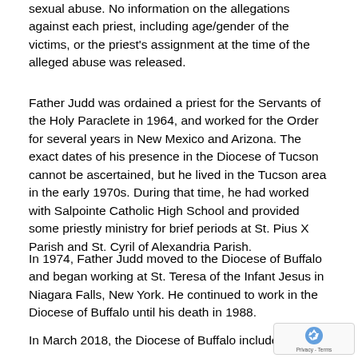sexual abuse. No information on the allegations against each priest, including age/gender of the victims, or the priest's assignment at the time of the alleged abuse was released.
Father Judd was ordained a priest for the Servants of the Holy Paraclete in 1964, and worked for the Order for several years in New Mexico and Arizona. The exact dates of his presence in the Diocese of Tucson cannot be ascertained, but he lived in the Tucson area in the early 1970s. During that time, he had worked with Salpointe Catholic High School and provided some priestly ministry for brief periods at St. Pius X Parish and St. Cyril of Alexandria Parish.
In 1974, Father Judd moved to the Diocese of Buffalo and began working at St. Teresa of the Infant Jesus in Niagara Falls, New York. He continued to work in the Diocese of Buffalo until his death in 1988.
In March 2018, the Diocese of Buffalo included Father